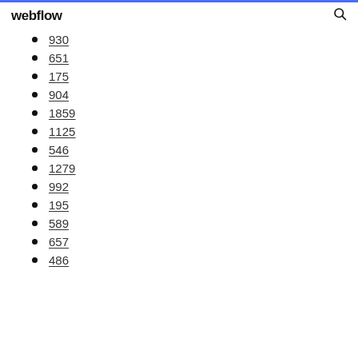webflow
930
651
175
904
1859
1125
546
1279
992
195
589
657
486